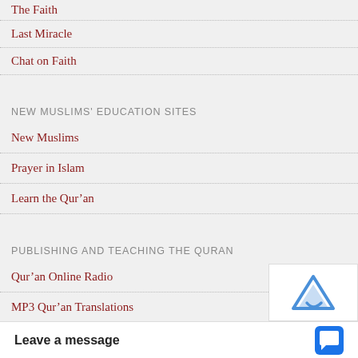The Faith
Last Miracle
Chat on Faith
NEW MUSLIMS' EDUCATION SITES
New Muslims
Prayer in Islam
Learn the Qur'an
PUBLISHING AND TEACHING THE QURAN
Qur'an Online Radio
MP3 Qur'an Translations
Leave a message